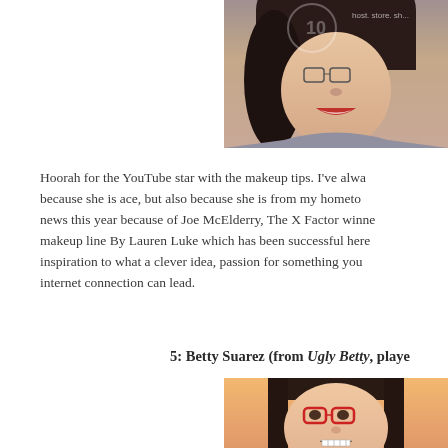[Figure (photo): Close-up photo of a woman with dark hair and red lipstick, smiling, with a watermark overlay showing photobucket logo and 'host. store. sh...']
Hoorah for the YouTube star with the makeup tips. I've always liked her because she is ace, but also because she is from my hometown which was in the news this year because of Joe McElderry, The X Factor winner. She has a makeup line By Lauren Luke which has been successful here and abroad — an inspiration to what a clever idea, passion for something you love and an internet connection can lead.
5: Betty Suarez (from Ugly Betty, played...
[Figure (photo): Photo of a young woman with bangs, red-framed glasses, and braces, smiling against an orange/peach background — Betty Suarez character from Ugly Betty]